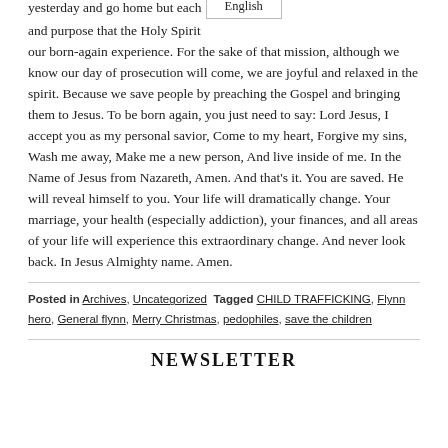yesterday and go home but each and purpose that the Holy Spirit [English] our born-again experience. For the sake of that mission, although we know our day of prosecution will come, we are joyful and relaxed in the spirit. Because we save people by preaching the Gospel and bringing them to Jesus. To be born again, you just need to say: Lord Jesus, I accept you as my personal savior, Come to my heart, Forgive my sins, Wash me away, Make me a new person, And live inside of me. In the Name of Jesus from Nazareth, Amen. And that's it. You are saved. He will reveal himself to you. Your life will dramatically change. Your marriage, your health (especially addiction), your finances, and all areas of your life will experience this extraordinary change. And never look back. In Jesus Almighty name. Amen.
Posted in Archives, Uncategorized  Tagged CHILD TRAFFICKING, Flynn hero, General flynn, Merry Christmas, pedophiles, save the children
NEWSLETTER